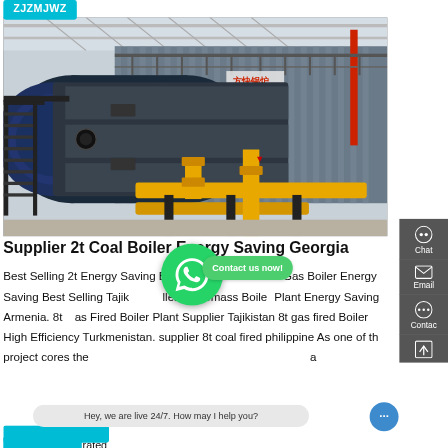[Figure (photo): Industrial coal boiler unit in a factory/warehouse setting. Large blue cylindrical boiler on the left with metal staircase. Yellow gas pipes prominent in foreground/center. Grey metal building cladding in background. Chinese manufacturer signage visible.]
Supplier 2t Coal Boiler Energy Saving Georgia
Best Selling 2t Energy Saving Boiler Plant Armenia. 8t Gas Boiler Energy Saving Best Selling Tajikistan seller 1t Biomass Boiler Plant Energy Saving Armenia. 8t Gas Fired Boiler Plant Supplier Tajikistan 8t gas fired Boiler High Efficiency Turkmenistan. supplier 8t coal fired philippine As one of the project cores the ... a ... rated